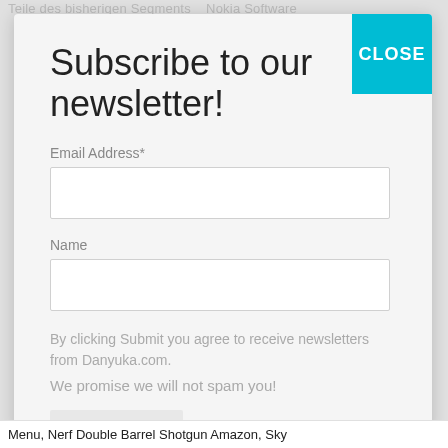Teile des bisherigen Segments   Nokia Software
Subscribe to our newsletter!
Email Address*
Name
By clicking Submit you agree to receive newsletters from Danyuka.com.
We promise we will not spam you!
Subscribe
Menu, Nerf Double Barrel Shotgun Amazon, Sky